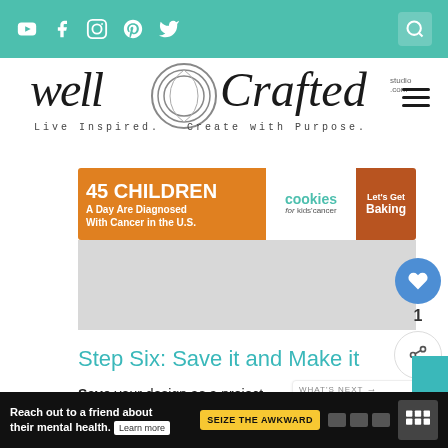Navigation bar with social icons (YouTube, Facebook, Instagram, Pinterest, Twitter) and search icon on teal background
[Figure (logo): Well Crafted Studio logo with circular spiral graphic. Tagline: Live Inspired. Create with Purpose.]
[Figure (infographic): Cookies for Kids' Cancer ad banner: '45 Children A Day Are Diagnosed With Cancer in the U.S.' with cookie image and 'Let's Get Baking' CTA]
Step Six: Save it and Make it
Save your design as a project.
hit the Make It in the top right corner
[Figure (infographic): What's Next panel showing thumbnail image and text 'My Best 16 Tips for...']
Reach out to a friend about their mental health. Learn more | SEIZE THE AWKWARD